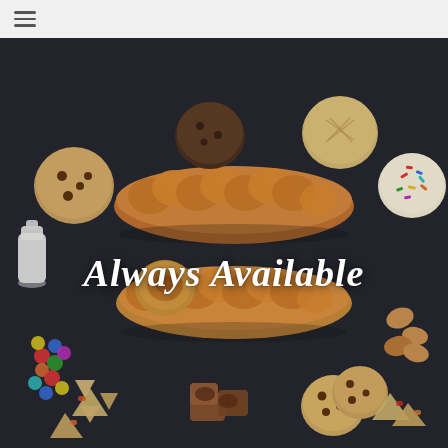[Figure (photo): Overhead flat-lay photo on a dark slate/chalkboard surface showing an assortment of baked goods: braided challah breads in the center, various cookies (chocolate chip, peanut butter, sprinkle sugar cookie), cinnamon rolls, rugelach, hamantaschen, and a small milk bottle, with the white italic script text 'Always Available' overlaid in the middle.]
Always Available